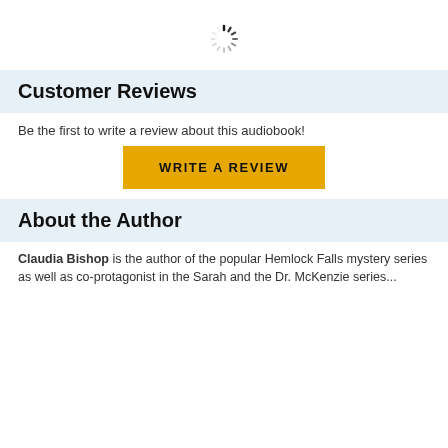[Figure (other): Loading spinner icon (circular dashed spinner)]
Customer Reviews
Be the first to write a review about this audiobook!
WRITE A REVIEW
About the Author
Claudia Bishop is the author of the popular Hemlock Falls mystery series as well as co-protagonist in the Sarah and the Dr. McKenzie series...